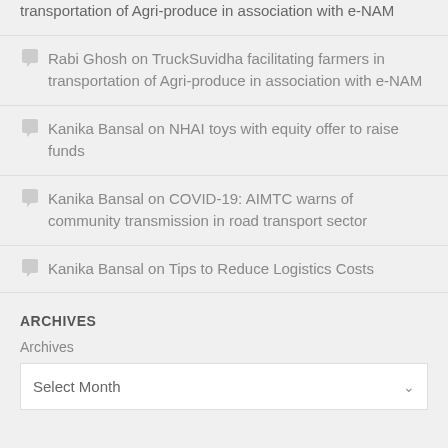transportation of Agri-produce in association with e-NAM
Rabi Ghosh on TruckSuvidha facilitating farmers in transportation of Agri-produce in association with e-NAM
Kanika Bansal on NHAI toys with equity offer to raise funds
Kanika Bansal on COVID-19: AIMTC warns of community transmission in road transport sector
Kanika Bansal on Tips to Reduce Logistics Costs
ARCHIVES
Archives
Select Month